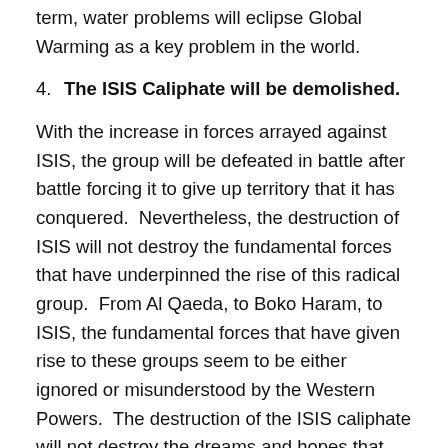term, water problems will eclipse Global Warming as a key problem in the world.
4. The ISIS Caliphate will be demolished.
With the increase in forces arrayed against ISIS, the group will be defeated in battle after battle forcing it to give up territory that it has conquered.  Nevertheless, the destruction of ISIS will not destroy the fundamental forces that have underpinned the rise of this radical group.  From Al Qaeda, to Boko Haram, to ISIS, the fundamental forces that have given rise to these groups seem to be either ignored or misunderstood by the Western Powers.  The destruction of the ISIS caliphate will not destroy the dreams and hopes that those who have pledged allegiance to these extremist beliefs hold.  Instead, we will see a disintegration of ISIS into many smaller more covert